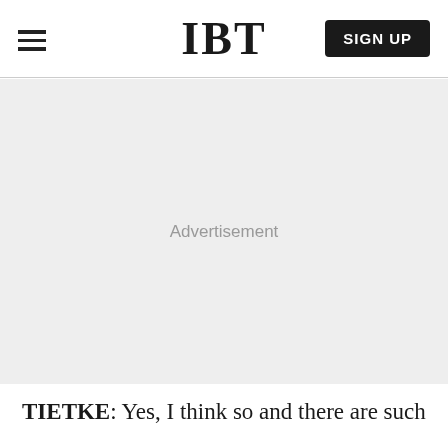IBT
[Figure (other): Advertisement placeholder area with light gray background and centered 'Advertisement' label]
TIETKE: Yes, I think so and there are such